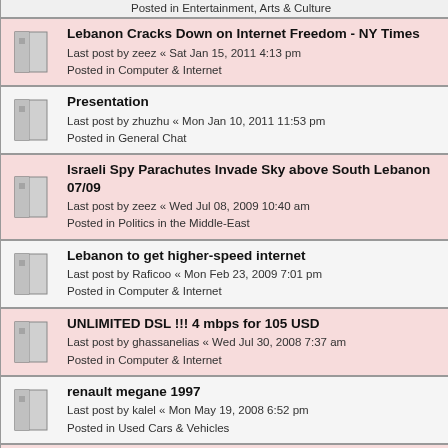Posted in Entertainment, Arts & Culture
Lebanon Cracks Down on Internet Freedom - NY Times
Last post by zeez « Sat Jan 15, 2011 4:13 pm
Posted in Computer & Internet
Presentation
Last post by zhuzhu « Mon Jan 10, 2011 11:53 pm
Posted in General Chat
Israeli Spy Parachutes Invade Sky above South Lebanon 07/09
Last post by zeez « Wed Jul 08, 2009 10:40 am
Posted in Politics in the Middle-East
Lebanon to get higher-speed internet
Last post by Raficoo « Mon Feb 23, 2009 7:01 pm
Posted in Computer & Internet
UNLIMITED DSL !!! 4 mbps for 105 USD
Last post by ghassanelias « Wed Jul 30, 2008 7:37 am
Posted in Computer & Internet
renault megane 1997
Last post by kalel « Mon May 19, 2008 6:52 pm
Posted in Used Cars & Vehicles
AHLEN
Last post by forucocolina « Fri Nov 30, 2007 6:10 pm
Posted in General Chat
Censorship of Cultural Expression in the Middle East
Last post by zeez « Thu Nov 15, 2007 3:55 am
Posted in Politics, Sex & Religion in Lebanon